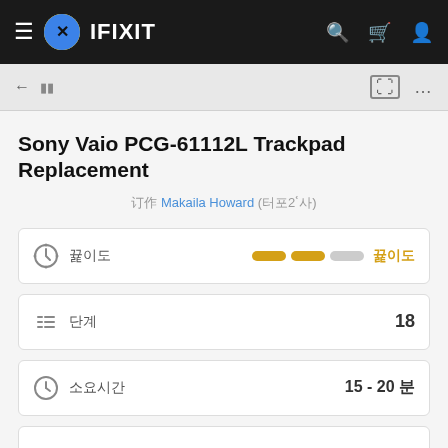IFIXIT
Sony Vaio PCG-61112L Trackpad Replacement
作者 Makaila Howard (및2기타)
난이도 (difficulty indicator: 2 of 3 bars filled)
단계 18
소요시간 15 - 20 분